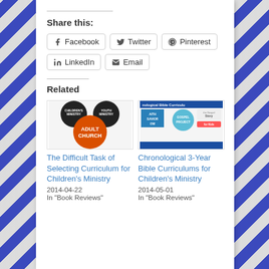Share this:
Facebook
Twitter
Pinterest
LinkedIn
Email
Related
[Figure (illustration): Children's Ministry / Youth Ministry / Adult Church logo with Mickey Mouse ear silhouette]
The Difficult Task of Selecting Curriculum for Children's Ministry
2014-04-22
In "Book Reviews"
[Figure (illustration): Chronological Bible Curriculum collage with Gospel Project and other logos]
Chronological 3-Year Bible Curriculums for Children's Ministry
2014-05-01
In "Book Reviews"